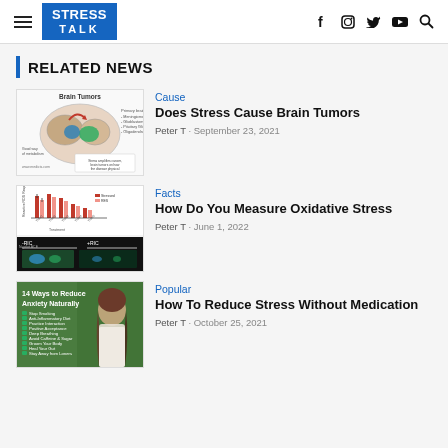STRESS TALK — navigation header with social icons
RELATED NEWS
[Figure (illustration): Brain tumors medical diagram showing primary brain tumors: Meningioma, Glioblastoma, Pituitary Glioma, Oligodendroglioma]
Cause
Does Stress Cause Brain Tumors
Peter T · September 23, 2021
[Figure (bar-chart): Chart showing Reactive ROS Responses across treatments, with two series (Stressed, RES). Below: microscopy images showing -RIC and +RIC conditions.]
Facts
How Do You Measure Oxidative Stress
Peter T · June 1, 2022
[Figure (illustration): Green background image with woman, text '14 Ways to Reduce Anxiety Naturally' with bullet list items]
Popular
How To Reduce Stress Without Medication
Peter T · October 25, 2021